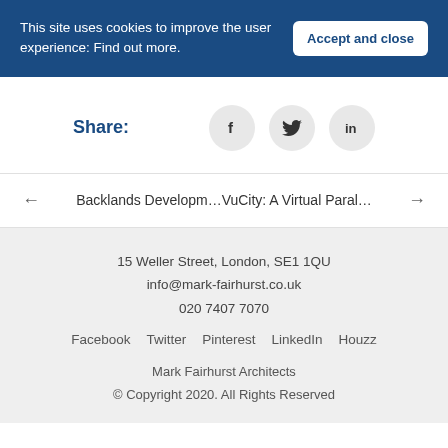This site uses cookies to improve the user experience: Find out more.
Accept and close
Share:
[Figure (infographic): Social media share icons: Facebook (f), Twitter (bird), LinkedIn (in)]
← Backlands Developm…VuCity: A Virtual Paral… →
15 Weller Street, London, SE1 1QU
info@mark-fairhurst.co.uk
020 7407 7070
Facebook  Twitter  Pinterest  LinkedIn  Houzz
Mark Fairhurst Architects
© Copyright 2020. All Rights Reserved